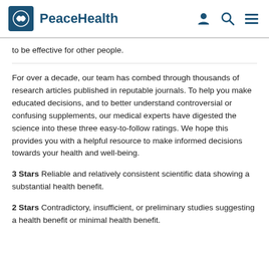PeaceHealth
to be effective for other people.
For over a decade, our team has combed through thousands of research articles published in reputable journals. To help you make educated decisions, and to better understand controversial or confusing supplements, our medical experts have digested the science into these three easy-to-follow ratings. We hope this provides you with a helpful resource to make informed decisions towards your health and well-being.
3 Stars Reliable and relatively consistent scientific data showing a substantial health benefit.
2 Stars Contradictory, insufficient, or preliminary studies suggesting a health benefit or minimal health benefit.